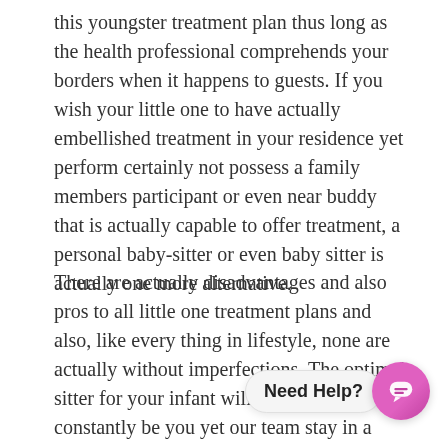this youngster treatment plan thus long as the health professional comprehends your borders when it happens to guests. If you wish your little one to have actually embellished treatment in your residence yet perform certainly not possess a family members participant or even near buddy that is actually capable to offer treatment, a personal baby-sitter or even baby sitter is actually one more alternative.
There are actually disadvantages and also pros to all little one treatment plans and also, like every thing in lifestyle, none are actually without imperfections. The optimal sitter for your infant will certainly constantly be you yet our team stay in a planet where several households demand pair of earnings only to create ends fulfill which creates it importan do treatment for our little ones.
[Figure (other): Chat widget with 'Need Help?' label bubble and pink circular icon with a chat/message symbol]